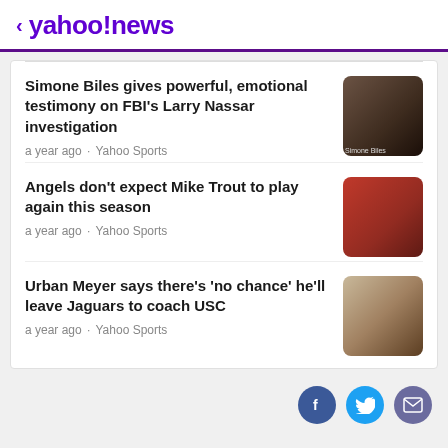< yahoo!news
Simone Biles gives powerful, emotional testimony on FBI's Larry Nassar investigation
a year ago · Yahoo Sports
Angels don't expect Mike Trout to play again this season
a year ago · Yahoo Sports
Urban Meyer says there's 'no chance' he'll leave Jaguars to coach USC
a year ago · Yahoo Sports